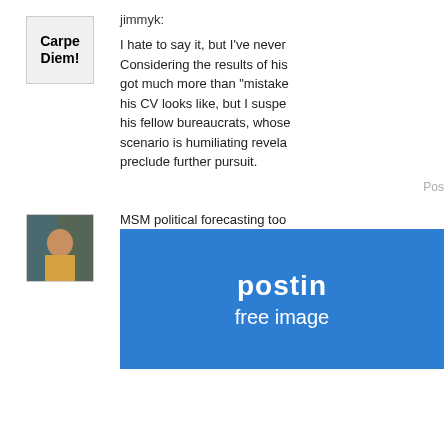[Figure (illustration): Avatar image with 'Carpe Diem!' text written in bold marker style]
jimmyk:
I hate to say it, but I've never Considering the results of his got much more than "mistake his CV looks like, but I suspe his fellow bureaucrats, whose scenario is humiliating revela preclude further pursuit.
Pos
[Figure (photo): Profile photo of a person outdoors with trees in background]
MSM political forecasting too
[Figure (screenshot): Blue banner with white text reading 'postin' and 'free image']